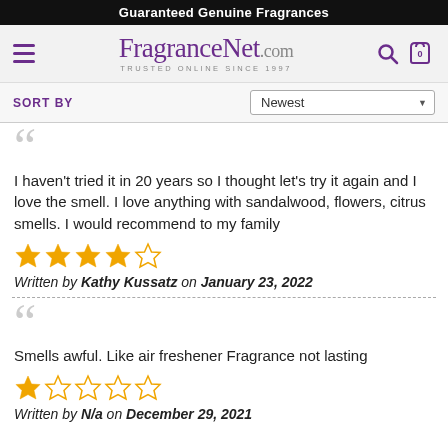Guaranteed Genuine Fragrances
[Figure (logo): FragranceNet.com logo with hamburger menu, search icon, and cart icon on a light gray header bar]
SORT BY — Newest
I haven't tried it in 20 years so I thought let's try it again and I love the smell. I love anything with sandalwood, flowers, citrus smells. I would recommend to my family
[Figure (other): 4 out of 5 stars rating]
Written by Kathy Kussatz on January 23, 2022
Smells awful. Like air freshener Fragrance not lasting
[Figure (other): 1 out of 5 stars rating]
Written by N/a on December 29, 2021